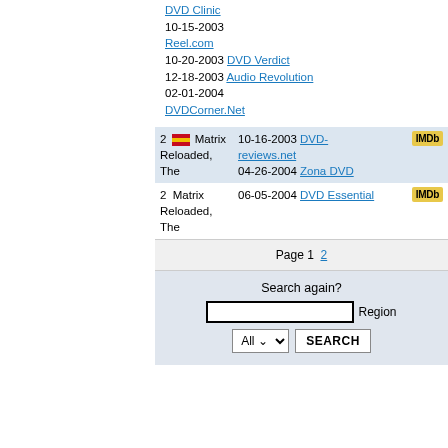| # | Title | Reviews | IMDb |
| --- | --- | --- | --- |
|  |  | DVD Clinic 10-15-2003
Reel.com 10-20-2003
DVD Verdict 12-18-2003
Audio Revolution 02-01-2004
DVDCorner.Net |  |
| 2 [ES flag] Matrix Reloaded, The |  | DVD-reviews.net 10-16-2003
Zona DVD 04-26-2004 | IMDb |
| 2  Matrix Reloaded, The |  | DVD Essential 06-05-2004 | IMDb |
Page 1  2
Search again?